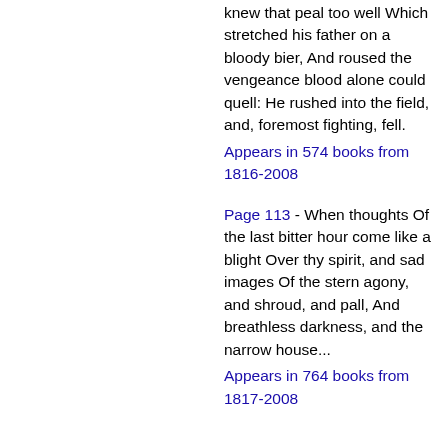knew that peal too well Which stretched his father on a bloody bier, And roused the vengeance blood alone could quell: He rushed into the field, and, foremost fighting, fell.
Appears in 574 books from 1816-2008
Page 113 - When thoughts Of the last bitter hour come like a blight Over thy spirit, and sad images Of the stern agony, and shroud, and pall, And breathless darkness, and the narrow house...
Appears in 764 books from 1817-2008